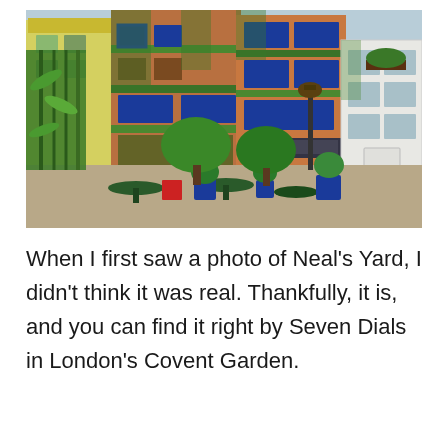[Figure (photo): A colorful courtyard scene of Neal's Yard in London, showing multi-storey brick buildings with vibrant blue, green, orange, and yellow painted window frames covered in lush green ivy and plants. Tables and blue plant pots are visible in the foreground courtyard area, with bamboo on the left side.]
When I first saw a photo of Neal's Yard, I didn't think it was real. Thankfully, it is, and you can find it right by Seven Dials in London's Covent Garden.